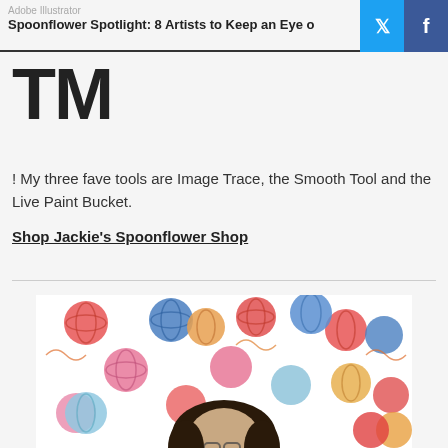Adobe Illustrator
Spoonflower Spotlight: 8 Artists to Keep an Eye on
TM
! My three fave tools are Image Trace, the Smooth Tool and the Live Paint Bucket.
Shop Jackie's Spoonflower Shop
[Figure (photo): Photo of a person in front of a colorful yarn balls pattern background, featuring red, blue, pink, orange, and light blue yarn balls on white fabric]